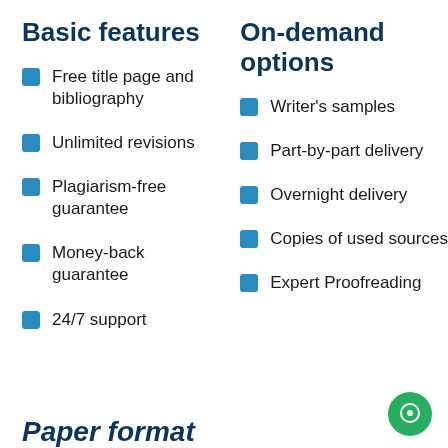Basic features
Free title page and bibliography
Unlimited revisions
Plagiarism-free guarantee
Money-back guarantee
24/7 support
On-demand options
Writer's samples
Part-by-part delivery
Overnight delivery
Copies of used sources
Expert Proofreading
Paper format